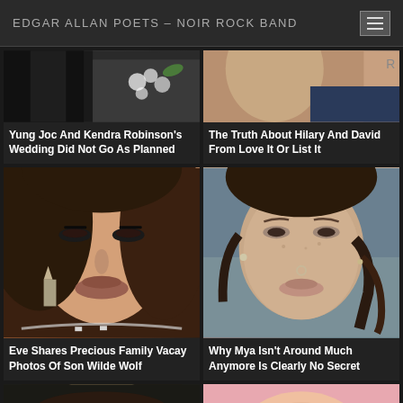EDGAR ALLAN POETS – NOIR ROCK BAND
[Figure (photo): Partial wedding photo showing flowers and dark clothing]
Yung Joc And Kendra Robinson's Wedding Did Not Go As Planned
[Figure (photo): Partial photo of a person's face and shoulder]
The Truth About Hilary And David From Love It Or List It
[Figure (photo): Close-up photo of Eve with makeup and glamorous look]
Eve Shares Precious Family Vacay Photos Of Son Wilde Wolf
[Figure (photo): Close-up photo of Mya without makeup, natural look]
Why Mya Isn't Around Much Anymore Is Clearly No Secret
[Figure (photo): Partial photo of a man's face from chin to forehead]
[Figure (photo): Partial photo of a person with pink background]